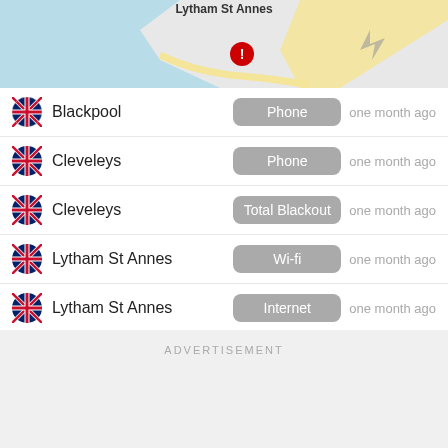[Figure (map): Partial map showing Lytham St Annes area with a red alert marker on the coast, blue sea to the left, roads visible]
Blackpool | Phone | one month ago
Cleveleys | Phone | one month ago
Cleveleys | Total Blackout | one month ago
Lytham St Annes | Wi-fi | one month ago
Lytham St Annes | Internet | one month ago
Lytham St Annes | Internet | one month ago
ADVERTISEMENT